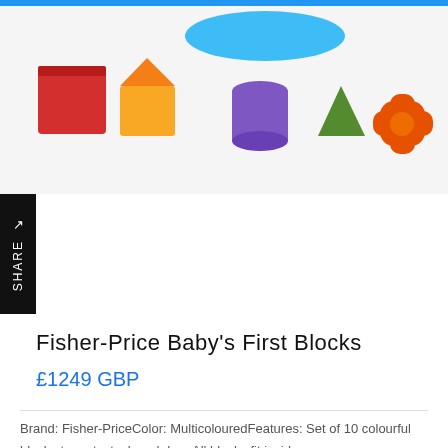[Figure (photo): Product photo of Fisher-Price Baby's First Blocks toy set — colorful plastic shape-sorting blocks (red cube, yellow house, purple cylinder, green triangle, orange star/cross shape) scattered on white background with a blue circular base in the background]
Fisher-Price Baby's First Blocks
£1249 GBP
Brand: Fisher-PriceColor: MulticolouredFeatures: Set of 10 colourful blocks to sort, stack and drop All blocks fit inside